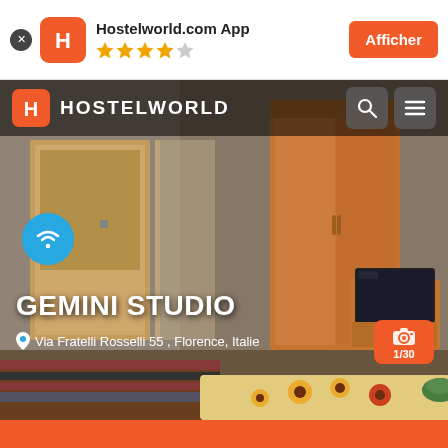[Figure (screenshot): Hostelworld.com app banner with logo, 4 orange stars and 1 grey star, and orange Afficher button]
[Figure (photo): Interior photo of a hotel room with wooden wardrobe, TV on dresser, striped bedding, and sunflower-patterned bedspread. Hostelworld logo/navbar overlay at top.]
GEMINI STUDIO
Via Fratelli Rosselli 55 , Florence, Italie
1/30